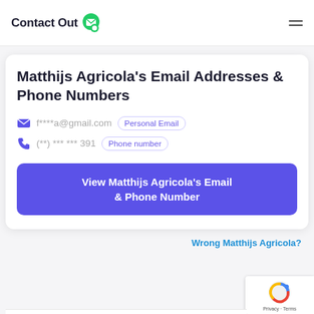ContactOut
Matthijs Agricola's Email Addresses & Phone Numbers
f****a@gmail.com  Personal Email
(**) *** *** 391  Phone number
View Matthijs Agricola's Email & Phone Number
Wrong Matthijs Agricola?